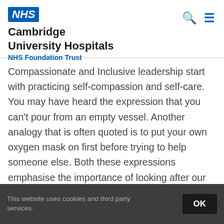[Figure (logo): NHS logo (blue rectangle with italic white NHS text) followed by Cambridge University Hospitals NHS Foundation Trust organization name]
Compassionate and Inclusive leadership start with practicing self-compassion and self-care. You may have heard the expression that you can't pour from an empty vessel. Another analogy that is often quoted is to put your own oxygen mask on first before trying to help someone else. Both these expressions emphasise the importance of looking after our own wellbeing so that we can be a positive role model for others and lead
This website uses cookies and third party services. OK